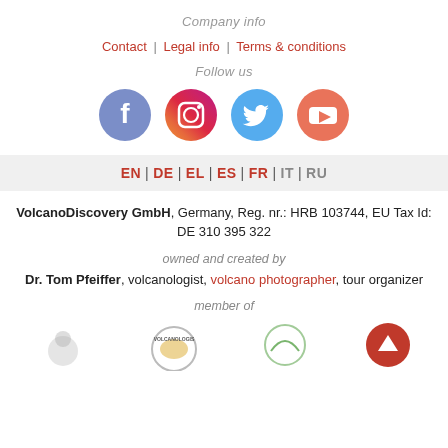Company info
Contact | Legal info | Terms & conditions
Follow us
[Figure (illustration): Social media icons: Facebook, Instagram, Twitter, YouTube]
EN | DE | EL | ES | FR | IT | RU
VolcanoDiscovery GmbH, Germany, Reg. nr.: HRB 103744, EU Tax Id: DE 310 395 322
owned and created by
Dr. Tom Pfeiffer, volcanologist, volcano photographer, tour organizer
member of
[Figure (logo): Member organization logos at bottom of page, partially visible]